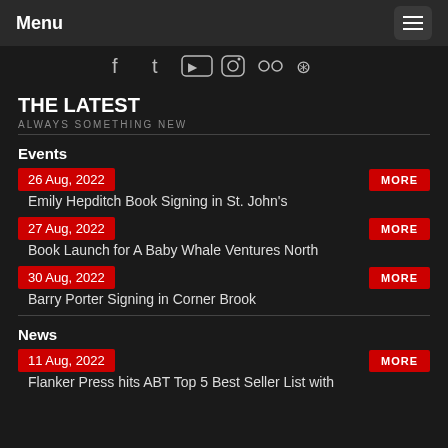Menu
[Figure (illustration): Social media icons: Facebook, Twitter, YouTube, Instagram, Flickr, RSS]
THE LATEST
ALWAYS SOMETHING NEW
Events
26 Aug, 2022 | MORE
Emily Hepditch Book Signing in St. John's
27 Aug, 2022 | MORE
Book Launch for A Baby Whale Ventures North
30 Aug, 2022 | MORE
Barry Porter Signing in Corner Brook
News
11 Aug, 2022 | MORE
Flanker Press hits ABT Top 5 Best Seller List with